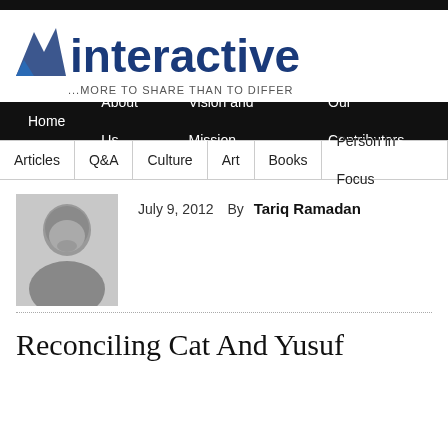[Figure (logo): Interactive magazine logo with flame/arrow icon and text 'interactive' in dark blue, tagline '...MORE TO SHARE THAN TO DIFFER']
Home  About Us  Vision and Mission  Our Contributors
Articles  Q&A  Culture  Art  Books  Person in Focus
[Figure (photo): Black and white portrait photo of Tariq Ramadan, a man with facial stubble wearing a light-colored sweater]
July 9, 2012  By  Tariq Ramadan
Reconciling Cat And Yusuf